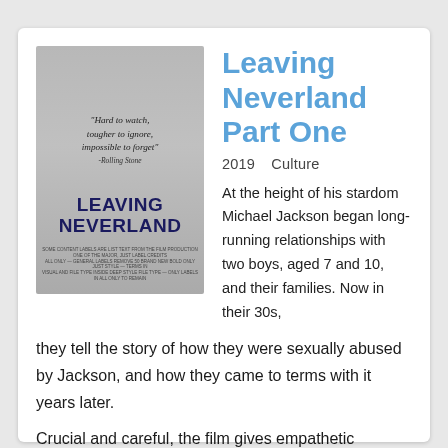[Figure (photo): Movie poster for Leaving Neverland featuring a quote 'Hard to watch, tougher to ignore, impossible to forget' attributed to Rolling Stone, with the bold title LEAVING NEVERLAND in dark blue and small credits text at bottom]
Leaving Neverland Part One
2019   Culture
At the height of his stardom Michael Jackson began long-running relationships with two boys, aged 7 and 10, and their families. Now in their 30s, they tell the story of how they were sexually abused by Jackson, and how they came to terms with it years later.
Crucial and careful, the film gives empathetic breadth and depth to the complica … Show More